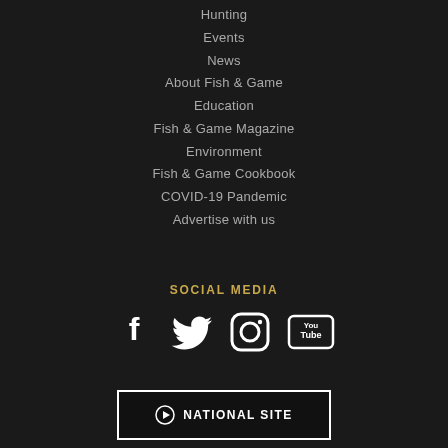Hunting
Events
News
About Fish & Game
Education
Fish & Game Magazine
Environment
Fish & Game Cookbook
COVID-19 Pandemic
Advertise with us
SOCIAL MEDIA
[Figure (infographic): Social media icons: Facebook, Twitter, Instagram, YouTube]
[Figure (infographic): National Site button with play icon]